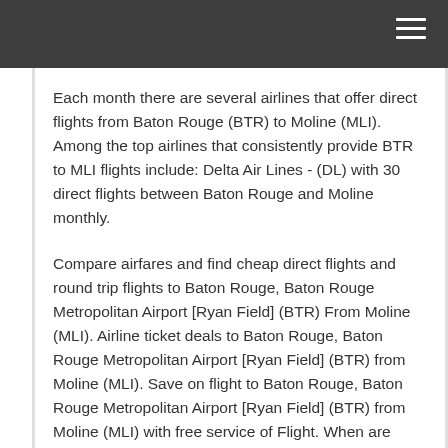Each month there are several airlines that offer direct flights from Baton Rouge (BTR) to Moline (MLI). Among the top airlines that consistently provide BTR to MLI flights include: Delta Air Lines - (DL) with 30 direct flights between Baton Rouge and Moline monthly.
Compare airfares and find cheap direct flights and round trip flights to Baton Rouge, Baton Rouge Metropolitan Airport [Ryan Field] (BTR) From Moline (MLI). Airline ticket deals to Baton Rouge, Baton Rouge Metropolitan Airport [Ryan Field] (BTR) from Moline (MLI). Save on flight to Baton Rouge, Baton Rouge Metropolitan Airport [Ryan Field] (BTR) from Moline (MLI) with free service of Flight. When are flight tickets from Moline (MLI) to